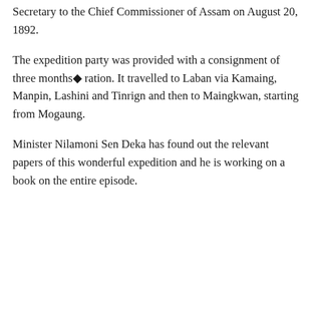Secretary to the Chief Commissioner of Assam on August 20, 1892.
The expedition party was provided with a consignment of three months■ ration. It travelled to Laban via Kamaing, Manpin, Lashini and Tinrign and then to Maingkwan, starting from Mogaung.
Minister Nilamoni Sen Deka has found out the relevant papers of this wonderful expedition and he is working on a book on the entire episode.